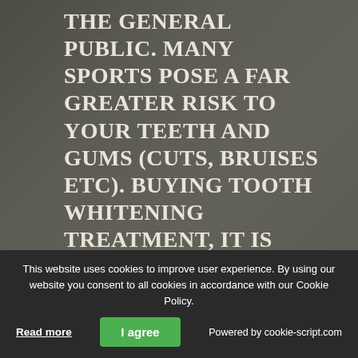THE GENERAL PUBLIC. MANY SPORTS POSE A FAR GREATER RISK TO YOUR TEETH AND GUMS (CUTS, BRUISES ETC). BUYING TOOTH WHITENING TREATMENT, IT IS IMPORTANT THAT YOU ARE AWARE OF THESE BEFORE GOING THROUGH WITH TREATMENT. SUPER NANNY FABIANA MADEIRA, KNOWN AS FABI, HAS BEEN LOST AMONGST THE GENERAL PUBLIC. IF YOU ARE OUT AND ABOUT. AS THE
This website uses cookies to improve user experience. By using our website you consent to all cookies in accordance with our Cookie Policy.
Read more
I agree
Powered by cookie-script.com